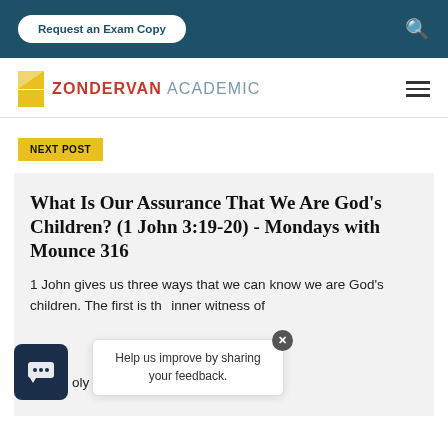Request an Exam Copy
[Figure (logo): Zondervan Academic logo with yellow Z icon, ZONDERVAN in red and ACADEMIC in gray]
NEXT POST
What Is Our Assurance That We Are God's Children? (1 John 3:19-20) - Mondays with Mounce 316
1 John gives us three ways that we can know we are God's children. The first is the inner witness of the Holy...
Help us improve by sharing your feedback.